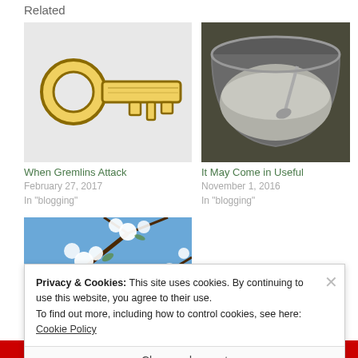Related
[Figure (illustration): Yellow key illustration on white/grey background]
When Gremlins Attack
February 27, 2017
In "blogging"
[Figure (photo): Photo of a grey bucket filled with grey powder/ash and a small metal shovel]
It May Come in Useful
November 1, 2016
In "blogging"
[Figure (photo): Photo looking up at white blossom flowers against a blue sky with tree branches]
Privacy & Cookies: This site uses cookies. By continuing to use this website, you agree to their use.
To find out more, including how to control cookies, see here: Cookie Policy
Close and accept